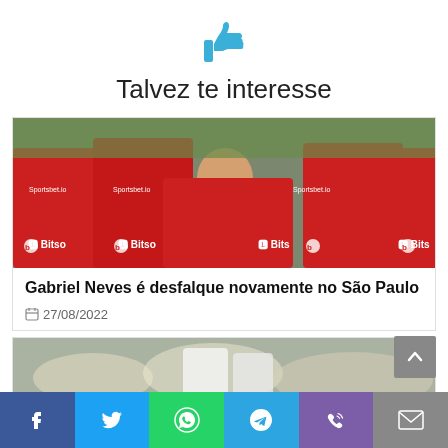[Figure (illustration): Blue thumbs-up icon]
Talvez te interesse
[Figure (photo): Football players in red Bitso-sponsored jerseys seen from behind]
Gabriel Neves é desfalque novamente no São Paulo
27/08/2022
[Figure (photo): Partial view of a second article image showing crowd/players]
[Figure (infographic): Social sharing bar with Facebook, Twitter, WhatsApp, Telegram, Phone, Email buttons]